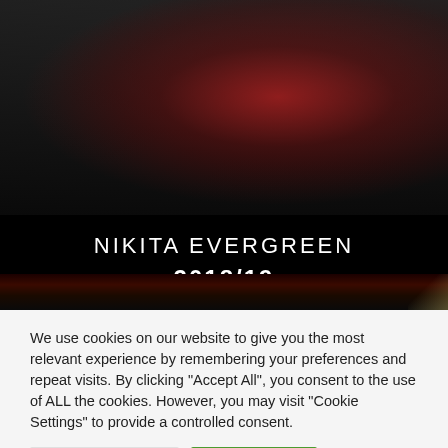[Figure (photo): Dark atmospheric hero image with reddish gradient light on dark background, part of a website banner for Nikita Evergreen 2018/19]
NIKITA EVERGREEN 2018/19
We use cookies on our website to give you the most relevant experience by remembering your preferences and repeat visits. By clicking “Accept All”, you consent to the use of ALL the cookies. However, you may visit “Cookie Settings” to provide a controlled consent.
Cookie Settings | Accept All